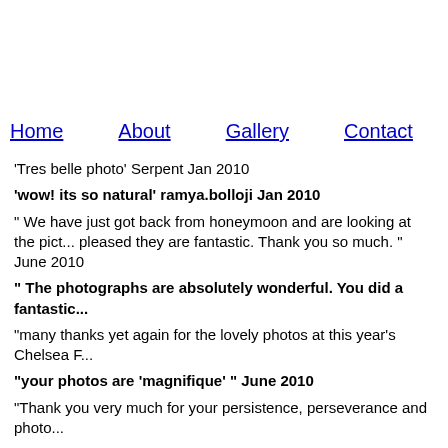Home | About | Gallery | Contact | W...
'Tres belle photo' Serpent Jan 2010
'wow! its so natural' ramya.bolloji Jan 2010
" We have just got back from honeymoon and are looking at the pict... pleased they are fantastic. Thank you so much. " June 2010
" The photographs are absolutely wonderful. You did a fantastic...
"many thanks yet again for the lovely photos at this year's Chelsea F...
"your photos are 'magnifique' " June 2010
"Thank you very much for your persistence, perseverance and photo...
"Thank you very much for the beautiful pictures. We are very h... Pascal & Dominique " October 2010
"David was delighted with the photographs" October 2010